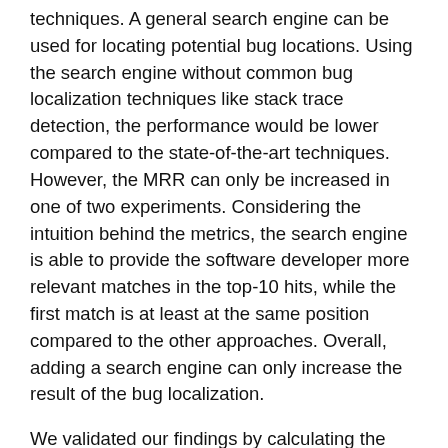techniques. A general search engine can be used for locating potential bug locations. Using the search engine without common bug localization techniques like stack trace detection, the performance would be lower compared to the state-of-the-art techniques. However, the MRR can only be increased in one of two experiments. Considering the intuition behind the metrics, the search engine is able to provide the software developer more relevant matches in the top-10 hits, while the first match is at least at the same position compared to the other approaches. Overall, adding a search engine can only increase the result of the bug localization.
We validated our findings by calculating the feature importance in both data sets. The search engine component that uses the content of our source code files is the most relevant feature. This underlines that the search engine is able to find bug locations and furthermore it is the most relevant component in the Random Forest. Thus, the search engine can locate bugs more precisely than previous approaches. However, the feature importance of other components can be reduced by the search engine component, if the search engine tries to find the same amount of information. For example, the search engine